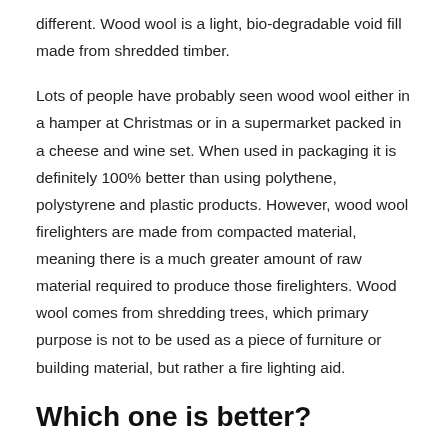different. Wood wool is a light, bio-degradable void fill made from shredded timber.
Lots of people have probably seen wood wool either in a hamper at Christmas or in a supermarket packed in a cheese and wine set. When used in packaging it is definitely 100% better than using polythene, polystyrene and plastic products. However, wood wool firelighters are made from compacted material, meaning there is a much greater amount of raw material required to produce those firelighters. Wood wool comes from shredding trees, which primary purpose is not to be used as a piece of furniture or building material, but rather a fire lighting aid.
Which one is better?
Similarly, both firelighters are made from natural products and are biodegradable. They are CO2 neutral and are safe to